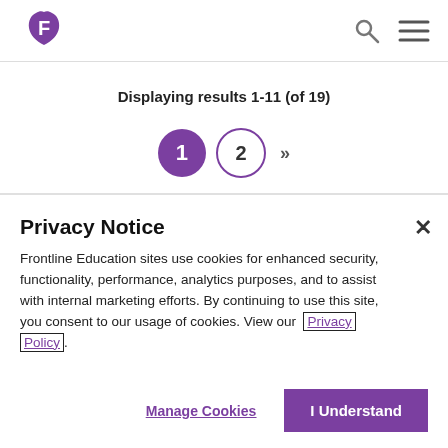Frontline Education logo header with search and menu icons
Displaying results 1-11 (of 19)
[Figure (other): Pagination controls: page 1 (active, purple circle), page 2 (outlined circle), next chevron >>]
Privacy Notice
Frontline Education sites use cookies for enhanced security, functionality, performance, analytics purposes, and to assist with internal marketing efforts. By continuing to use this site, you consent to our usage of cookies. View our Privacy Policy.
Manage Cookies
I Understand